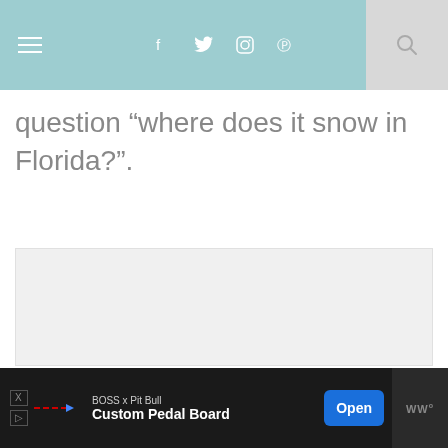Navigation bar with hamburger menu, social icons (f, twitter, instagram, pinterest), and search button
question “where does it snow in Florida?”.
[Figure (other): Light gray image placeholder rectangle]
BOSS x Pit Bull | Custom Pedal Board | Open